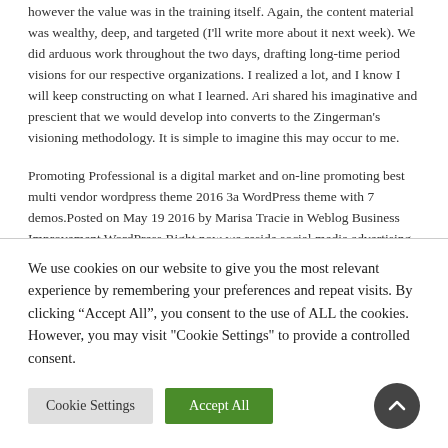however the value was in the training itself. Again, the content material was wealthy, deep, and targeted (I'll write more about it next week). We did arduous work throughout the two days, drafting long-time period visions for our respective organizations. I realized a lot, and I know I will keep constructing on what I learned. Ari shared his imaginative and prescient that we would develop into converts to the Zingerman's visioning methodology. It is simple to imagine this may occur to me.
Promoting Professional is a digital market and on-line promoting best multi vendor wordpress theme 2016 3a WordPress theme with 7 demos.Posted on May 19 2016 by Marisa Tracie in Weblog Business Improvement WordPress Right now we reside social media advertising and marketing in social media market we now have gone from paper flyers to on-line advertisements and within the closing yr online gross sales have skyrocketed due to the social media advertising obtainable to. Along with the migration to Google servers , several new features were launched, including label organization, a drag and drop
We use cookies on our website to give you the most relevant experience by remembering your preferences and repeat visits. By clicking "Accept All", you consent to the use of ALL the cookies. However, you may visit "Cookie Settings" to provide a controlled consent.